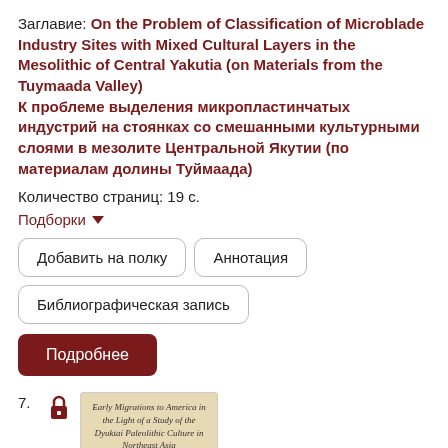Заглавие: On the Problem of Classification of Microblade Industry Sites with Mixed Cultural Layers in the Mesolithic of Central Yakutia (on Materials from the Tuymaada Valley) К проблеме выделения микропластинчатых индустрий на стоянках со смешанными культурными слоями в мезолите Центральной Якутии (по материалам долины Туймаада)
Количество страниц: 19 с.
Подборки ▼
Добавить на полку
Аннотация
Библиографическая запись
Подробнее
7.
[Figure (illustration): Book cover thumbnail with text: Early Migrations to America in the Light of a Study of the Dyuktai Paleolithic Culture in Northeast Asia]